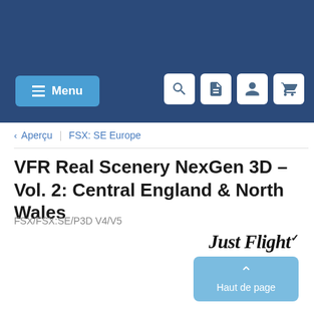[Figure (screenshot): Website navigation header with dark blue background, blue Menu button on left, and white icon buttons (search, document, user, cart) on right]
< Aperçu | FSX: SE Europe
VFR Real Scenery NexGen 3D – Vol. 2: Central England & North Wales
FSX/FSX:SE/P3D V4/V5
[Figure (logo): Just Flight logo in bold italic serif font]
Haut de page